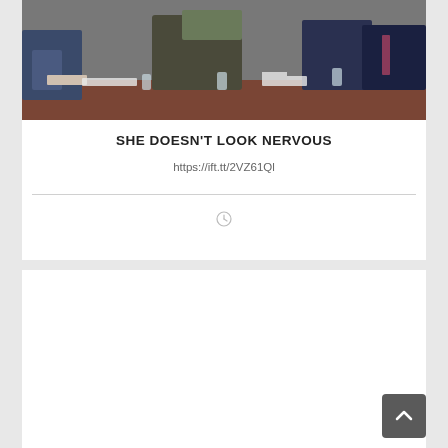[Figure (photo): People seated around a meeting table, appearing to be in a conference room setting. Several people in suits visible, with glasses of water and papers on the table.]
SHE DOESN'T LOOK NERVOUS
https://ift.tt/2VZ61Ql
[Figure (other): Clock icon symbol]
[Figure (other): Empty white card/content area below divider]